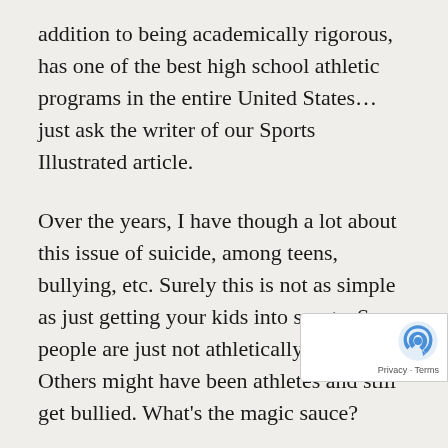addition to being academically rigorous, has one of the best high school athletic programs in the entire United States… just ask the writer of our Sports Illustrated article.
Over the years, I have though a lot about this issue of suicide, among teens, bullying, etc. Surely this is not as simple as just getting your kids into sports. Some people are just not athletically gifted. Others might have been athletes and still get bullied. What's the magic sauce?
I have come to believe there is no magic sauce. It's random. Middle schoolers and High schoolers a... random. Think about it.... hormones raging... pa...